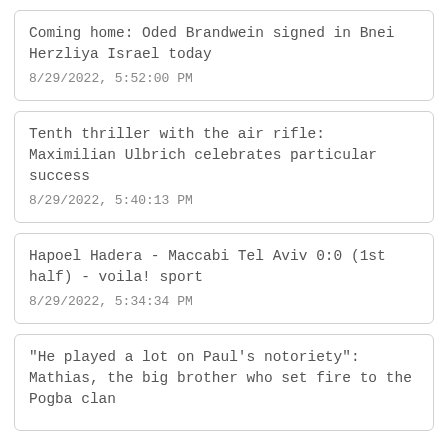Coming home: Oded Brandwein signed in Bnei Herzliya Israel today
8/29/2022, 5:52:00 PM
Tenth thriller with the air rifle: Maximilian Ulbrich celebrates particular success
8/29/2022, 5:40:13 PM
Hapoel Hadera - Maccabi Tel Aviv 0:0 (1st half) - voila! sport
8/29/2022, 5:34:34 PM
"He played a lot on Paul's notoriety": Mathias, the big brother who set fire to the Pogba clan